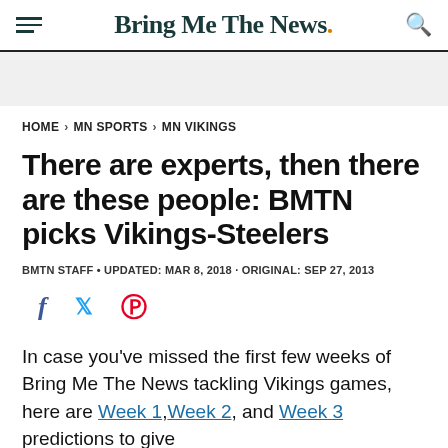Bring Me The News
HOME > MN SPORTS > MN VIKINGS
There are experts, then there are these people: BMTN picks Vikings-Steelers
BMTN STAFF • UPDATED: MAR 8, 2018 · ORIGINAL: SEP 27, 2013
[Figure (infographic): Social share icons: Facebook, Twitter, Pinterest]
In case you've missed the first few weeks of Bring Me The News tackling Vikings games, here are Week 1, Week 2, and Week 3 predictions to give